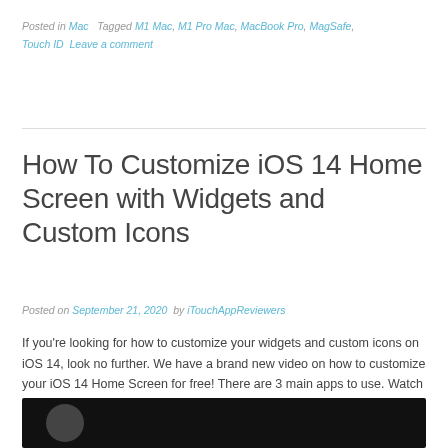Posted in Mac  Tagged M1 Mac, M1 Pro Mac, MacBook Pro, MagSafe, Touch ID  Leave a comment
How To Customize iOS 14 Home Screen with Widgets and Custom Icons
Posted on September 21, 2020  by iTouchAppReviewers
If you're looking for how to customize your widgets and custom icons on iOS 14, look no further. We have a brand new video on how to customize your iOS 14 Home Screen for free! There are 3 main apps to use. Watch this video to learn more!
[Figure (screenshot): Video thumbnail showing a dark background with a partial circular image at bottom left]